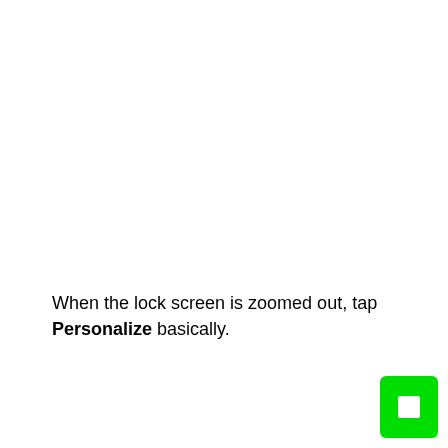When the lock screen is zoomed out, tap Personalize basically.
[Figure (other): Small green rounded rectangle button with a white square icon in the bottom-right corner of the page]